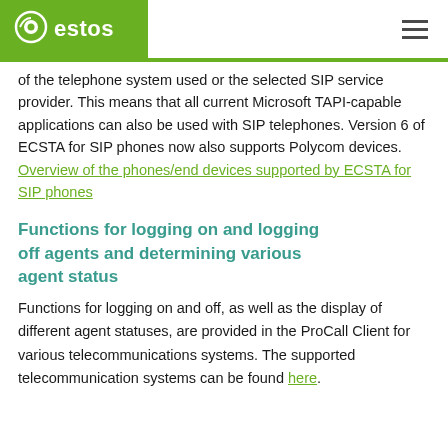estos
of the telephone system used or the selected SIP service provider. This means that all current Microsoft TAPI-capable applications can also be used with SIP telephones. Version 6 of ECSTA for SIP phones now also supports Polycom devices. Overview of the phones/end devices supported by ECSTA for SIP phones
Functions for logging on and logging off agents and determining various agent status
Functions for logging on and off, as well as the display of different agent statuses, are provided in the ProCall Client for various telecommunications systems. The supported telecommunication systems can be found here.